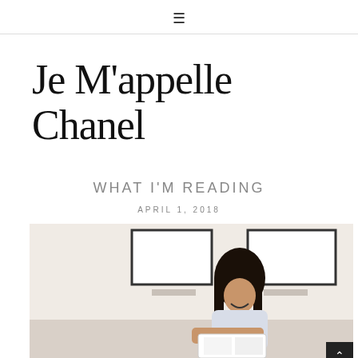≡
Je M'appelle Chanel
WHAT I'M READING
APRIL 1, 2018
[Figure (photo): Young woman with long dark hair smiling while reading a book/magazine, seated in a white room with framed artwork on the wall in the background]